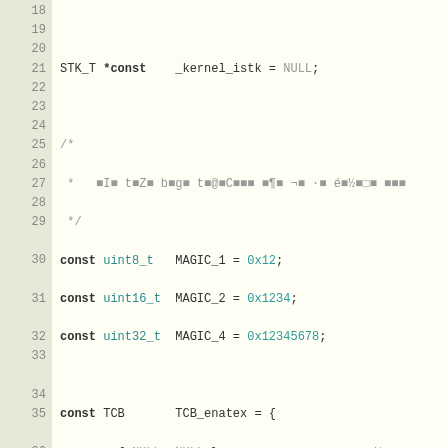[Figure (screenshot): Source code listing showing C code with line numbers 18-36, featuring STK_T pointer declaration, comment block with garbled characters, const integer declarations with hex values (MAGIC_1=0x12, MAGIC_2=0x1234, MAGIC_4=0x12345678), TCB struct initialization with NULL values, preprocessor directives for TOPPERS_SUPPORT_MUTEX, and struct field initializations]